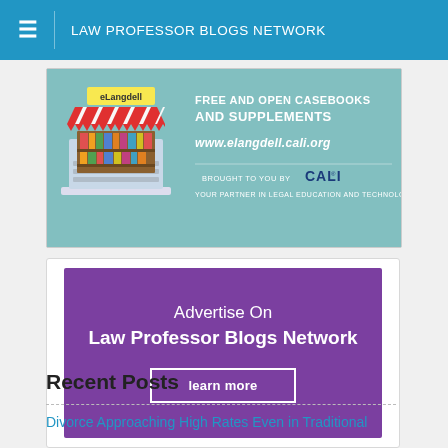LAW PROFESSOR BLOGS NETWORK
[Figure (illustration): CALI eLangdell banner ad showing a bookstore illustration with text: FREE AND OPEN CASEBOOKS AND SUPPLEMENTS, www.elangdell.cali.org, BROUGHT TO YOU BY CALI, YOUR PARTNER IN LEGAL EDUCATION AND TECHNOLOGY]
[Figure (illustration): Purple advertisement banner: Advertise On Law Professor Blogs Network, learn more button]
Recent Posts
Divorce Approaching High Rates Even in Traditional